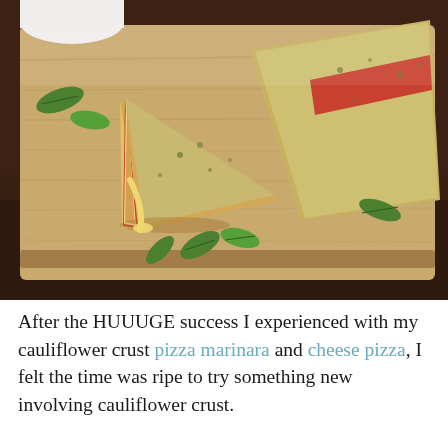[Figure (photo): Close-up photo of cauliflower crust pizza slices on a wooden cutting board, showing cheesy golden-brown crusts with red tomato sauce visible inside, garnished with fresh arugula leaves, on a dark wooden table background.]
After the HUUUGE success I experienced with my cauliflower crust pizza marinara and cheese pizza, I felt the time was ripe to try something new involving cauliflower crust.